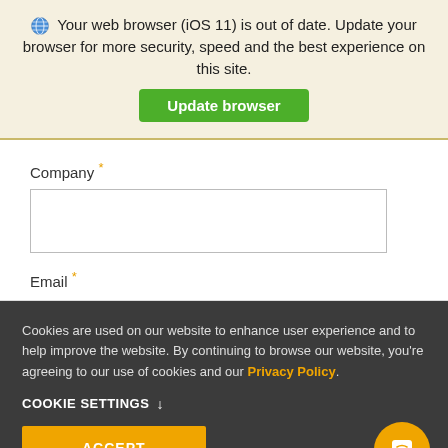Your web browser (iOS 11) is out of date. Update your browser for more security, speed and the best experience on this site.
Update browser
Company *
Email *
Cookies are used on our website to enhance user experience and to help improve the website. By continuing to browse our website, you're agreeing to our use of cookies and our Privacy Policy.
COOKIE SETTINGS ↓
ACCEPT